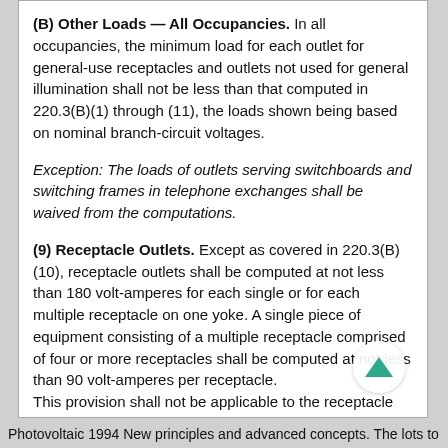(B) Other Loads — All Occupancies. In all occupancies, the minimum load for each outlet for general-use receptacles and outlets not used for general illumination shall not be less than that computed in 220.3(B)(1) through (11), the loads shown being based on nominal branch-circuit voltages.
Exception: The loads of outlets serving switchboards and switching frames in telephone exchanges shall be waived from the computations.
(9) Receptacle Outlets. Except as covered in 220.3(B)(10), receptacle outlets shall be computed at not less than 180 volt-amperes for each single or for each multiple receptacle on one yoke. A single piece of equipment consisting of a multiple receptacle comprised of four or more receptacles shall be computed at not less than 90 volt-amperes per receptacle.
This provision shall not be applicable to the receptacle outlets specified in 210.11(C)(1) and (2).
Photovoltaic 1994 New principles and advanced concepts. The lots to...